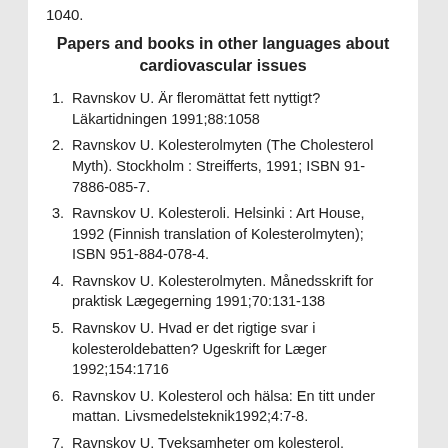1040.
Papers and books in other languages about cardiovascular issues
Ravnskov U. Är fleromättat fett nyttigt? Läkartidningen 1991;88:1058
Ravnskov U. Kolesterolmyten (The Cholesterol Myth). Stockholm : Streifferts, 1991; ISBN 91-7886-085-7.
Ravnskov U. Kolesteroli. Helsinki : Art House, 1992 (Finnish translation of Kolesterolmyten); ISBN 951-884-078-4.
Ravnskov U. Kolesterolmyten. Månedsskrift for praktisk Lægegerning 1991;70:131-138
Ravnskov U. Hvad er det rigtige svar i kolesteroldebatten? Ugeskrift for Læger 1992;154:1716
Ravnskov U. Kolesterol och hälsa: En titt under mattan. Livsmedelsteknik1992;4:7-8.
Ravnskov U. Tveksamheter om kolesterol. Suomen Lääkarilehti 1993;48:1063-1064.